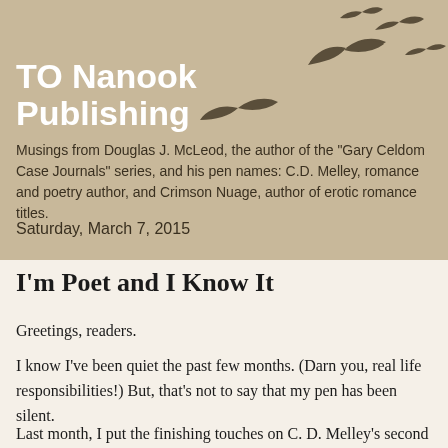[Figure (illustration): Decorative header with birds silhouettes flying against a tan/beige background]
TO Nanook Publishing
Musings from Douglas J. McLeod, the author of the "Gary Celdom Case Journals" series, and his pen names: C.D. Melley, romance and poetry author, and Crimson Nuage, author of erotic romance titles.
Saturday, March 7, 2015
I'm Poet and I Know It
Greetings, readers.
I know I've been quiet the past few months. (Darn you, real life responsibilities!) But, that's not to say that my pen has been silent.
Last month, I put the finishing touches on C. D. Melley's second foray into the world of poetry. The latest collection –